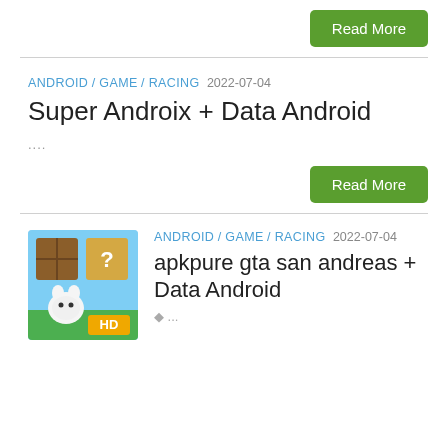Read More
ANDROID / GAME / RACING  2022-07-04
Super Androix + Data Android
....
Read More
ANDROID / GAME / RACING  2022-07-04
[Figure (illustration): HD game app icon with blocks, question mark, and cartoon cat character on green background]
apkpure gta san andreas + Data Android
◆ ...